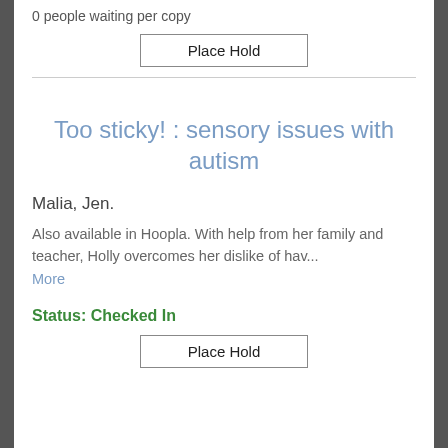0 people waiting per copy
Place Hold
Too sticky! : sensory issues with autism
Malia, Jen.
Also available in Hoopla. With help from her family and teacher, Holly overcomes her dislike of hav...
More
Status: Checked In
Place Hold